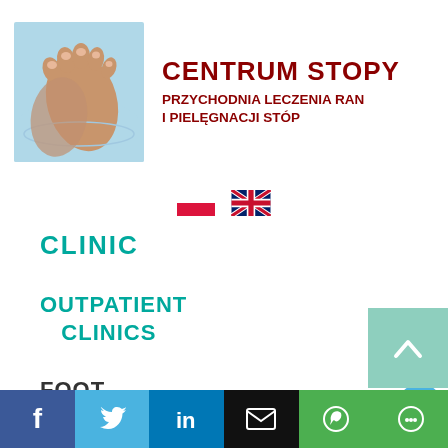[Figure (logo): Centrum Stopy logo with foot image in water on the left and text on the right]
CENTRUM STOPY
PRZYCHODNIA LECZENIA RAN I PIELĘGNACJI STÓP
[Figure (infographic): Polish flag and UK flag icons for language selection]
CLINIC
OUTPATIENT CLINICS
FOOT CENTRE
TREATMENTS
[Figure (infographic): Social media sidebar icons: Facebook (dark blue), Twitter (light blue), Instagram (dark blue), YouTube (red)]
[Figure (infographic): Scroll-to-top button (light teal with up arrow)]
Bottom social bar with Facebook, Twitter, LinkedIn, Email, WhatsApp, Chat icons